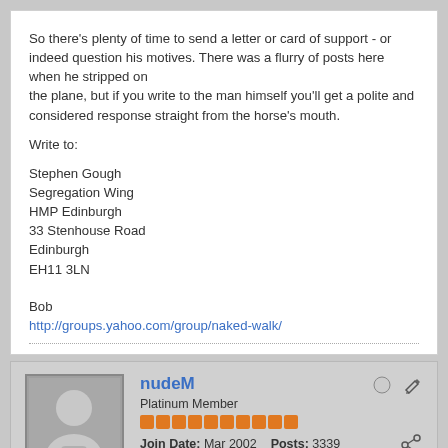So there's plenty of time to send a letter or card of support - or indeed question his motives. There was a flurry of posts here when he stripped on the plane, but if you write to the man himself you'll get a polite and considered response straight from the horse's mouth.

Write to:

Stephen Gough
Segregation Wing
HMP Edinburgh
33 Stenhouse Road
Edinburgh
EH11 3LN


Bob
http://groups.yahoo.com/group/naked-walk/
nudeM
Platinum Member
Join Date: Mar 2002   Posts: 3339